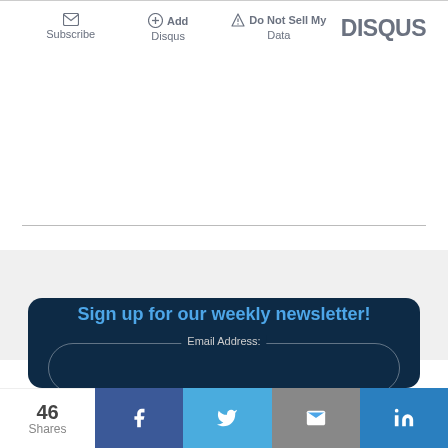[Figure (screenshot): Disqus comment widget toolbar showing Subscribe, Add Disqus, Do Not Sell My Data options and DISQUS logo]
[Figure (screenshot): Newsletter signup card with dark blue background, title 'Sign up for our weekly newsletter!' and Email Address input field]
[Figure (infographic): Social share bar showing 46 Shares, and Facebook, Twitter, Email, LinkedIn share buttons]